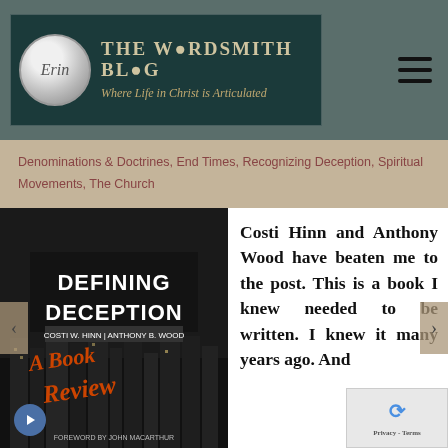[Figure (logo): The Wordsmith Blog banner logo with circular avatar and teal/dark background, subtitle 'Where Life in Christ is Articulated']
Denominations & Doctrines, End Times, Recognizing Deception, Spiritual Movements, The Church
[Figure (photo): Book cover of 'Defining Deception' by Costi W. Hinn and Anthony B. Wood, with orange script text 'A Book Review', foreword by John MacArthur]
Costi Hinn and Anthony Wood have beaten me to the post. This is a book I knew needed to be written. I knew it many years ago. And